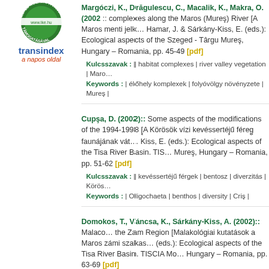[Figure (logo): Illyés Közalapítvány Támogatásával logo with green circular emblem and transindex branding]
Margóczi, K., Drăgulescu, C., Macalik, K., Makra, O. (2002):: complexes along the Maros (Mureş) River [A Maros menti jell... Hamar, J. & Sárkány-Kiss, E. (eds.): Ecological aspects of the Tisa River Basin. Szeged - Târgu Mureş, Hungary – Romania, pp. 45-49 [pdf]
Kulcsszavak : | habitat complexes | river valley vegetation | Maro...
Keywords : | élőhely komplexek | folyóvölgy növényzete | Mureş |
Cupşa, D. (2002):: Some aspects of the modifications of the...1994-1998 [A Körösök vízi kevéssertéjű féreg faunájának vát... Kiss, E. (eds.): Ecological aspects of the Tisa River Basin. TIS... Mureş, Hungary – Romania, pp. 51-62 [pdf]
Kulcsszavak : | kevéssertéjű férgek | bentosz | diverzitás | Körös...
Keywords : | Oligochaeta | benthos | diversity | Criş |
Domokos, T., Váncsa, K., Sárkány-Kiss, A. (2002):: Malaco... the Zam Region [Malakológiai kutatások a Maros zámi szakas... (eds.): Ecological aspects of the Tisa River Basin. TISCIA Mo... Hungary – Romania, pp. 63-69 [pdf]
Kulcsszavak : | Maros | árterület | malacofauna | transect |
Keywords : | Mureş | flood plain | puhatestű fauna | transzekt |
Sîrbu, I., Sárkány-Kiss, A. (2002):: Endangered freshwater m... River (Romanian territory) [A Maros keleti mellékfolyóinak ves... Sárkány-Kiss, E. (eds.): Ecological aspects of the Tisa River B...